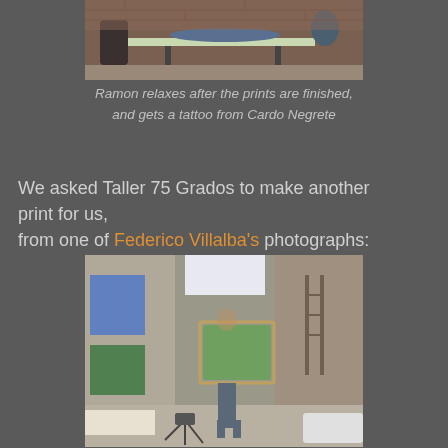[Figure (photo): Photo of Ramon lying on a table getting a tattoo in a studio with brick walls]
Ramon relaxes after the prints are finished, and gets a tattoo from Cardo Negrete
We asked Taller 75 Grados to make another print for us, from one of Federico Villalba's photographs:
[Figure (photo): Photo of a person holding a large framed painting in an art studio or warehouse space]